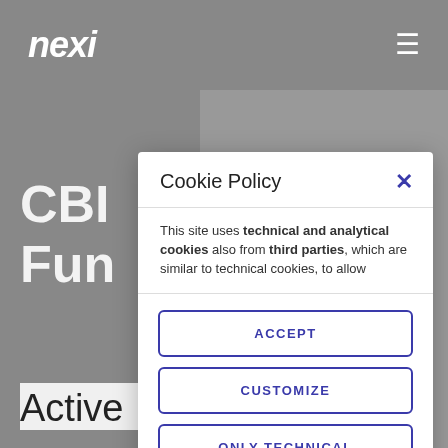nexi
CBI
Fun
Cookie Policy
This site uses technical and analytical cookies also from third parties, which are similar to technical cookies, to allow
ACCEPT
CUSTOMIZE
ONLY TECHNICAL
COOKIES
Active